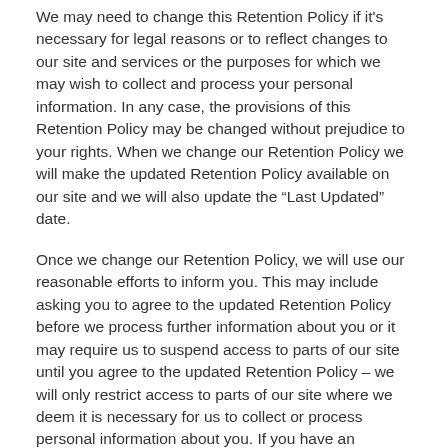We may need to change this Retention Policy if it's necessary for legal reasons or to reflect changes to our site and services or the purposes for which we may wish to collect and process your personal information. In any case, the provisions of this Retention Policy may be changed without prejudice to your rights. When we change our Retention Policy we will make the updated Retention Policy available on our site and we will also update the “Last Updated” date.
Once we change our Retention Policy, we will use our reasonable efforts to inform you. This may include asking you to agree to the updated Retention Policy before we process further information about you or it may require us to suspend access to parts of our site until you agree to the updated Retention Policy – we will only restrict access to parts of our site where we deem it is necessary for us to collect or process personal information about you. If you have an account on our site then we may reset your login and seek new consent if there is a change in the purpose